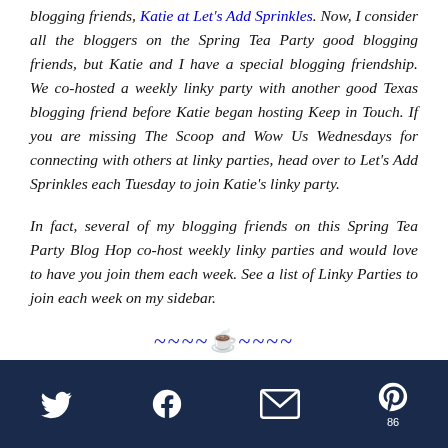blogging friends, Katie at Let's Add Sprinkles. Now, I consider all the bloggers on the Spring Tea Party good blogging friends, but Katie and I have a special blogging friendship. We co-hosted a weekly linky party with another good Texas blogging friend before Katie began hosting Keep in Touch. If you are missing The Scoop and Wow Us Wednesdays for connecting with others at linky parties, head over to Let's Add Sprinkles each Tuesday to join Katie's linky party.
In fact, several of my blogging friends on this Spring Tea Party Blog Hop co-host weekly linky parties and would love to have you join them each week. See a list of Linky Parties to join each week on my sidebar.
[Figure (other): Decorative divider with blue tilde waves and a teacup emoji: ~~~~☕~~~~]
Social share icons: Twitter, Facebook, Email, Pinterest (86)